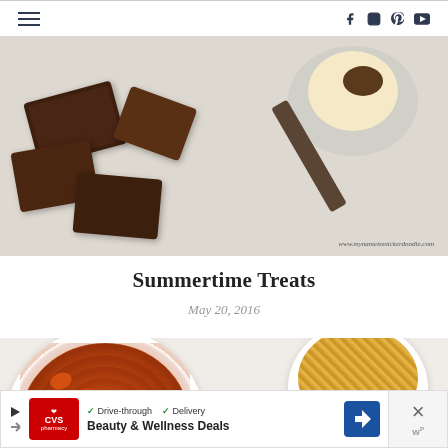Navigation header with hamburger menu and social icons (Facebook, Instagram, Pinterest, YouTube)
[Figure (photo): Overhead photo of chocolate-dipped ice cream bars broken into pieces on a light surface, alongside a bowl of ice cream with nuts and a dark metal spoon. Watermark: www.mynameissnickerdoodle.com]
Summertime Treats
May 20, 2016
[Figure (photo): Overhead photo of two white bowls — one with baked beans in tomato sauce, one with shredded cheese — on a light background, with a gold spoon]
[Figure (other): CVS Pharmacy advertisement banner: Drive-through, Delivery checkmarks, Beauty & Wellness Deals, with CVS pharmacy logo and navigation icon]